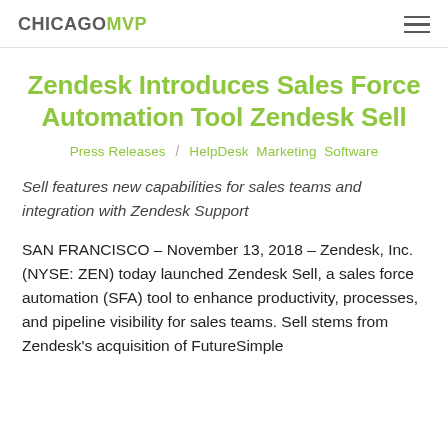CHICAGOMVP
Zendesk Introduces Sales Force Automation Tool Zendesk Sell
Press Releases / HelpDesk  Marketing  Software
Sell features new capabilities for sales teams and integration with Zendesk Support
SAN FRANCISCO – November 13, 2018 – Zendesk, Inc. (NYSE: ZEN) today launched Zendesk Sell, a sales force automation (SFA) tool to enhance productivity, processes, and pipeline visibility for sales teams. Sell stems from Zendesk's acquisition of FutureSimple